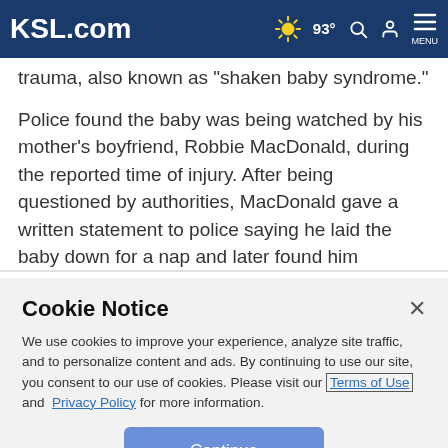KSL.com | 93° | Search | Account | Menu
trauma, also known as "shaken baby syndrome."
Police found the baby was being watched by his mother's boyfriend, Robbie MacDonald, during the reported time of injury. After being questioned by authorities, MacDonald gave a written statement to police saying he laid the baby down for a nap and later found him unresponsive.
Cookie Notice
We use cookies to improve your experience, analyze site traffic, and to personalize content and ads. By continuing to use our site, you consent to our use of cookies. Please visit our Terms of Use and Privacy Policy for more information.